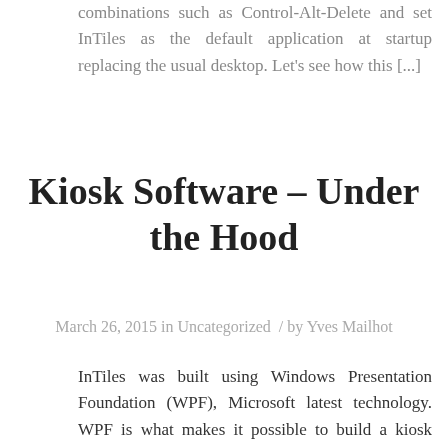combinations such as Control-Alt-Delete and set InTiles as the default application at startup replacing the usual desktop. Let’s see how this […]
Kiosk Software – Under the Hood
March 26, 2015 in Uncategorized / by Yves Mailhot
InTiles was built using Windows Presentation Foundation (WPF), Microsoft latest technology. WPF is what makes it possible to build a kiosk interface that is both visually stunning and extremely flexible. Looking good is not enough for a kiosk browser, it needs an engine to display